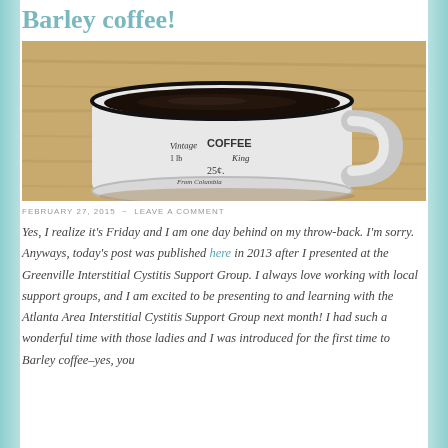Barley coffee!
[Figure (photo): A white ceramic mug filled with black coffee sitting on a wooden surface. The mug has vintage-style text reading 'Vintage COFFEE King 1 lb 25c. From Columbia']
FEBRUARY 27, 2015 ~ LEAVE A COMMENT
Yes, I realize it's Friday and I am one day behind on my throw-back. I'm sorry. Anyways, today's post was published here in 2013 after I presented at the Greenville Interstitial Cystitis Support Group. I always love working with local support groups, and I am excited to be presenting to and learning with the Atlanta Area Interstitial Cystitis Support Group next month! I had such a wonderful time with those ladies and I was introduced for the first time to Barley coffee–yes, you